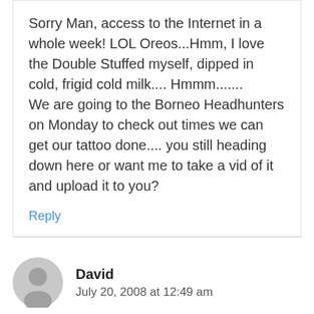Sorry Man, access to the Internet in a whole week! LOL Oreos...Hmm, I love the Double Stuffed myself, dipped in cold, frigid cold milk.... Hmmm.......
We are going to the Borneo Headhunters on Monday to check out times we can get our tattoo done.... you still heading down here or want me to take a vid of it and upload it to you?
Reply
David
July 20, 2008 at 12:49 am